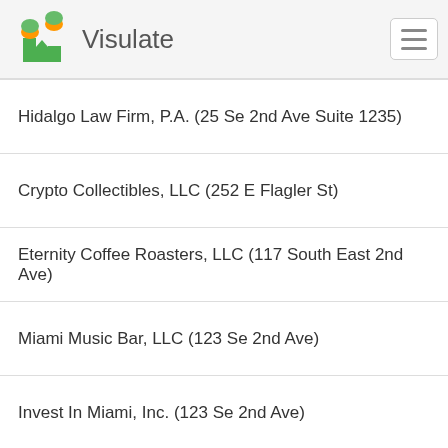Visulate
Hidalgo Law Firm, P.A. (25 Se 2nd Ave Suite 1235)
Crypto Collectibles, LLC (252 E Flagler St)
Eternity Coffee Roasters, LLC (117 South East 2nd Ave)
Miami Music Bar, LLC (123 Se 2nd Ave)
Invest In Miami, Inc. (123 Se 2nd Ave)
Integra Aventura Equity, LLC (150 Se 2nd Ave)
Integra Marinas, LLC (150 Se 2nd Ave)
Veneza Investments LLC (150 Se 2nd Ave)
Temescal Key West LLC (150 Se 2nd Ave)
Temescal Isle Marina LLC (150 Se 2nd Ave)